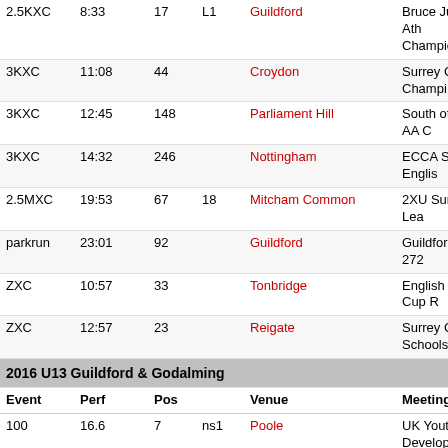| Event | Perf | Pos |  | Venue | Meeting |
| --- | --- | --- | --- | --- | --- |
| 2.5KXC | 8:33 | 17 | L1 | Guildford | Bruce Judd Young Ath Championships) |
| 3KXC | 11:08 | 44 |  | Croydon | Surrey County Champi |
| 3KXC | 12:45 | 148 |  | Parliament Hill | South of England AA C |
| 3KXC | 14:32 | 246 |  | Nottingham | ECCA Saucony Englis |
| 2.5MXC | 19:53 | 67 | 18 | Mitcham Common | 2XU Surrey Men's Le |
| parkrun | 23:01 | 92 |  | Guildford | Guildford parkrun # 27 |
| ZXC | 10:57 | 33 |  | Tonbridge | English Schools Cup R |
| ZXC | 12:57 | 23 |  | Reigate | Surrey County Schools |
| 2016 U13 Guildford & Godalming |  |  |  |  |  |
| Event | Perf | Pos |  | Venue | Meeting |
| 100 | 16.6 | 7 | ns1 | Poole | UK Youth Developmen South/West 1 |
| 800 | 2:41.3 | 7 | h3 | Kingston | Surrey County Champi |
| 1500 | 5:34.6 | 5 | A | Eton | Alder Valley Boys' Lea |
| 1500 | 5:36.05 | 5 | B | Guildford | UK Youth Developmen South/West 1 |
| 1500 | 5:36.7 | 6 | A | Poole | UK Youth Developmen South/West 1 |
| 1500 | 5:38.4 | 8 | A | Kingston | UK Youth Developmen South/West 1 |
| 1.95KXC | 7:34 | 27 |  | West Bromwich | Dave Sunderland Inter |
| 2.8MXC | 19:20 | 33 |  | Richmond Park | 2XU Surrey Men's Le |
| parkrun | 21:39 | 37 |  | Guildford | Guildford parkrun # 20 |
| parkrun | 24:51 | 79 | 1 | Guildford | Guildford parkrun # 20 |
| ZXC | 7:21 | 7 |  | Reigate | Surrey Primary School |
|  |  |  |  |  | Bruce Judd Young Ath |